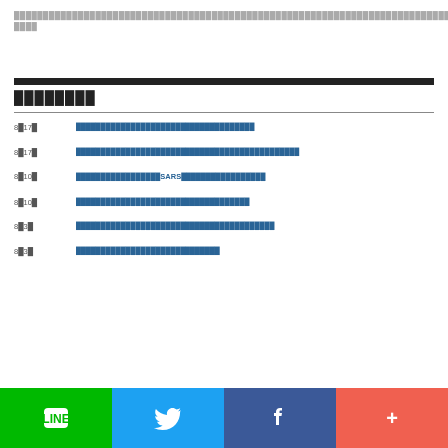（文字化けしている日本語テキスト — ページ上部の説明文）
（セクション見出し）
8月17日 — リンクテキスト1
8月17日 — リンクテキスト2
8月10日 — SARS関連リンクテキスト
8月10日 — リンクテキスト4
8月3日 — リンクテキスト5
8月3日 — リンクテキスト6